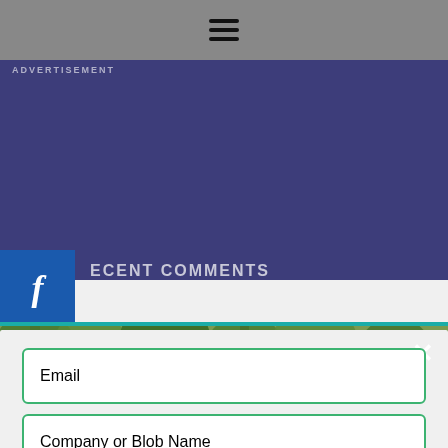≡ (hamburger menu icon)
ADVERTISEMENT
RECENT COMMENTS
[Figure (photo): Outdoor nature/park photo with trees and parked cars along a path, used as background for a newsletter subscription modal overlay]
News from Shannon's Grotto
Stay in touch by subscribing to our email list. Unsubscribe at anytime.
Email
Company or Blob Name
SUBSCRIBE